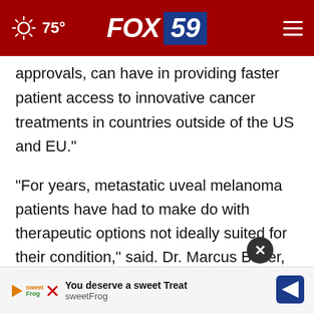75° FOX 59
approvals, can have in providing faster patient access to innovative cancer treatments in countries outside of the US and EU."
"For years, metastatic uveal melanoma patients have had to make do with therapeutic options not ideally suited for their condition," said. Dr. Marcus Butler, Medical Oncologist, Tumor Immunotherapy Program, Melanoma/Skin Medical Oncology Site Lead at Princess Margaret Cancer Centre...
[Figure (screenshot): sweetFrog advertisement banner at bottom of page with close button overlay]